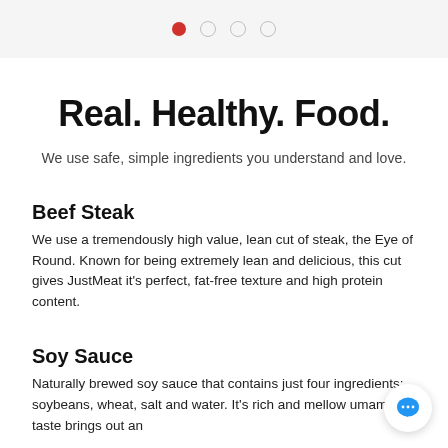● ○ ○ ○
Real. Healthy. Food.
We use safe, simple ingredients you understand and love.
Beef Steak
We use a tremendously high value, lean cut of steak, the Eye of Round. Known for being extremely lean and delicious, this cut gives JustMeat it's perfect, fat-free texture and high protein content.
Soy Sauce
Naturally brewed soy sauce that contains just four ingredients: soybeans, wheat, salt and water. It's rich and mellow umami taste brings out an